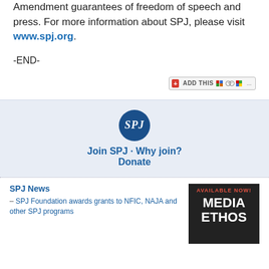Amendment guarantees of freedom of speech and press. For more information about SPJ, please visit www.spj.org.
-END-
[Figure (other): AddThis social sharing button bar with red plus icon, ADD THIS label, and social media icons]
[Figure (logo): SPJ circular logo in dark blue with SPJ in white italic text]
Join SPJ · Why join? Donate
SPJ News
– SPJ Foundation awards grants to NFIC, NAJA and other SPJ programs
[Figure (other): Book advertisement: AVAILABLE NOW! MEDIA ETHICS text on dark background]